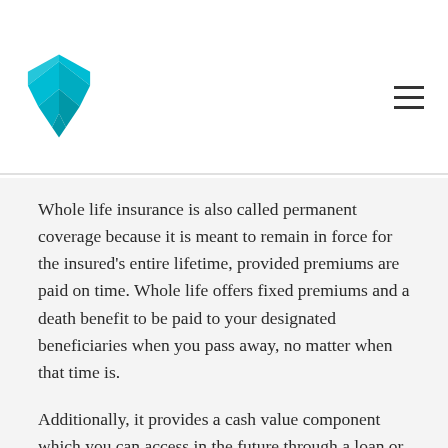[Logo: Policygenius / insurance brand with teal origami-style shield icon] [Hamburger menu icon]
Whole life insurance is also called permanent coverage because it is meant to remain in force for the insured's entire lifetime, provided premiums are paid on time. Whole life offers fixed premiums and a death benefit to be paid to your designated beneficiaries when you pass away, no matter when that time is.
Additionally, it provides a cash value component which you can access in the future through a loan or if you choose to surrender your policy. Simply put, whole life insurance is for those who seek guarantees in exchange for higher premiums.